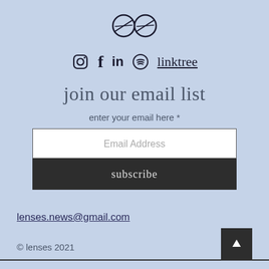[Figure (logo): Lenses newsletter logo: two overlapping circles with diagonal lines, resembling glasses lenses]
Instagram  f  in  Spotify  linktree
join our email list
enter your email here *
Email Address
subscribe
lenses.news@gmail.com
© lenses 2021